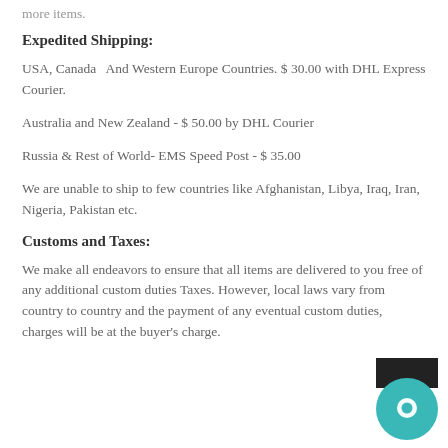more items.
Expedited Shipping:
USA, Canada  And Western Europe Countries. $ 30.00 with DHL Express Courier.
Australia and New Zealand - $ 50.00 by DHL Courier
Russia & Rest of World- EMS Speed Post - $ 35.00
We are unable to ship to few countries like Afghanistan, Libya, Iraq, Iran, Nigeria, Pakistan etc.
Customs and Taxes:
We make all endeavors to ensure that all items are delivered to you free of any additional custom duties Taxes. However, local laws vary from country to country and the payment of any eventual custom duties, charges will be at the buyer's charge.